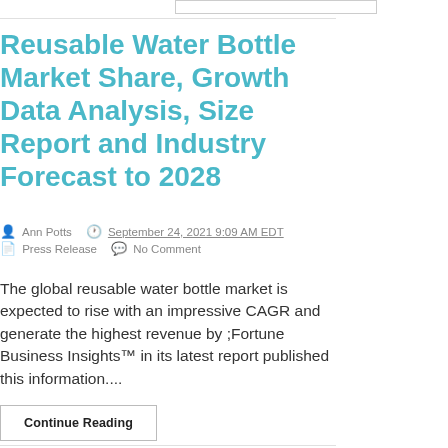Reusable Water Bottle Market Share, Growth Data Analysis, Size Report and Industry Forecast to 2028
Ann Potts   September 24, 2021 9:09 AM EDT
Press Release   No Comment
The global reusable water bottle market is expected to rise with an impressive CAGR and generate the highest revenue by ;Fortune Business Insights™ in its latest report published this information....
Continue Reading